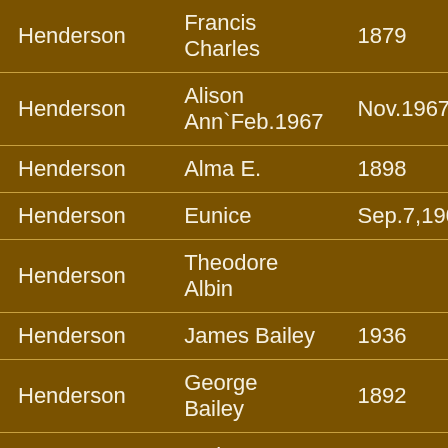| Henderson | Francis Charles | 1879 |
| Henderson | Alison Ann`Feb.1967 | Nov.1967 |
| Henderson | Alma E. | 1898 |
| Henderson | Eunice | Sep.7,1907 |
| Henderson | Theodore Albin |  |
| Henderson | James Bailey | 1936 |
| Henderson | George Bailey | 1892 |
| Henderson | Walter Clarence | 1891 |
| Henrickson | baby | 12-Sep-28 |